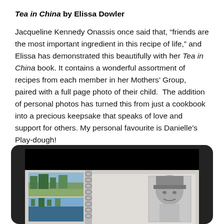Tea in China by Elissa Dowler
Jacqueline Kennedy Onassis once said that, “friends are the most important ingredient in this recipe of life,” and Elissa has demonstrated this beautifully with her Tea in China book. It contains a wonderful assortment of recipes from each member in her Mothers’ Group, paired with a full page photo of their child.  The addition of personal photos has turned this from just a cookbook into a precious keepsake that speaks of love and support for others. My personal favourite is Danielle’s Play-dough!
[Figure (photo): A tablet device displaying a book preview page showing landscape photos on the left side, a spiral binding in the middle, and a black-and-white portrait photo on the right side.]